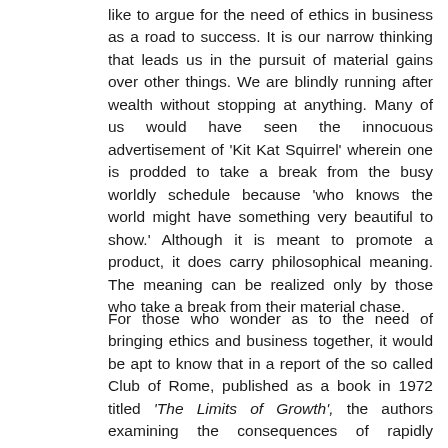like to argue for the need of ethics in business as a road to success. It is our narrow thinking that leads us in the pursuit of material gains over other things. We are blindly running after wealth without stopping at anything. Many of us would have seen the innocuous advertisement of 'Kit Kat Squirrel' wherein one is prodded to take a break from the busy worldly schedule because 'who knows the world might have something very beautiful to show.' Although it is meant to promote a product, it does carry philosophical meaning. The meaning can be realized only by those who take a break from their material chase.
For those who wonder as to the need of bringing ethics and business together, it would be apt to know that in a report of the so called Club of Rome, published as a book in 1972 titled 'The Limits of Growth', the authors examining the consequences of rapidly growing world population and finite resource